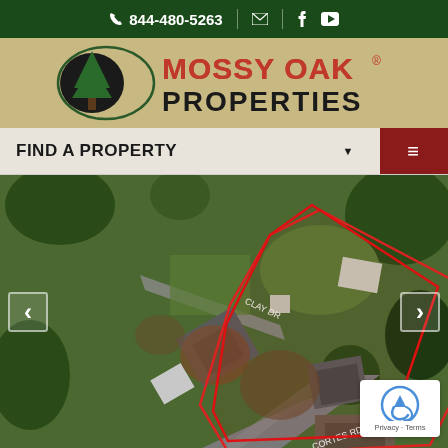844-480-5263
[Figure (logo): Mossy Oak Properties logo with tree silhouette in oval, red and black text]
FIND A PROPERTY
[Figure (photo): Aerial satellite view of residential property with red polygon boundary outline showing lot boundaries, houses, trees, and streets labeled Clay Dr and Cortes Rd]